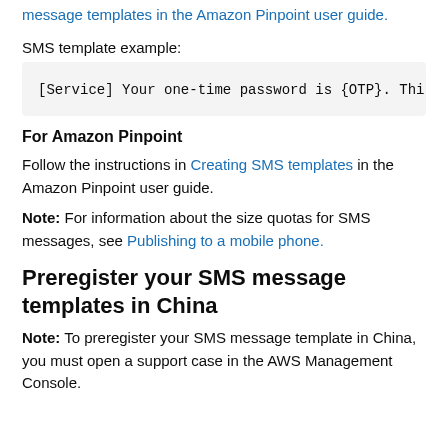message templates in the Amazon Pinpoint user guide.
SMS template example:
[Service] Your one-time password is {OTP}. This
For Amazon Pinpoint
Follow the instructions in Creating SMS templates in the Amazon Pinpoint user guide.
Note: For information about the size quotas for SMS messages, see Publishing to a mobile phone.
Preregister your SMS message templates in China
Note: To preregister your SMS message template in China, you must open a support case in the AWS Management Console.